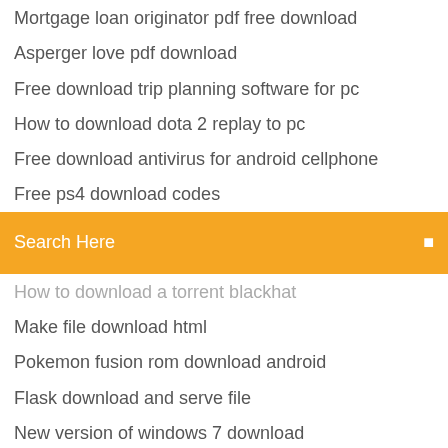Mortgage loan originator pdf free download
Asperger love pdf download
Free download trip planning software for pc
How to download dota 2 replay to pc
Free download antivirus for android cellphone
Free ps4 download codes
[Figure (screenshot): Search bar with orange background and text 'Search Here']
How to download a torrent blackhat
Make file download html
Pokemon fusion rom download android
Flask download and serve file
New version of windows 7 download
Sonic adventure 2 pc download free
The originals s04e10 torrent download
App store recently downloaded 2018
Free destiny 2 dlc download pc
Where to safely download gbc mods
Gtx 960 palit jetstream driver download